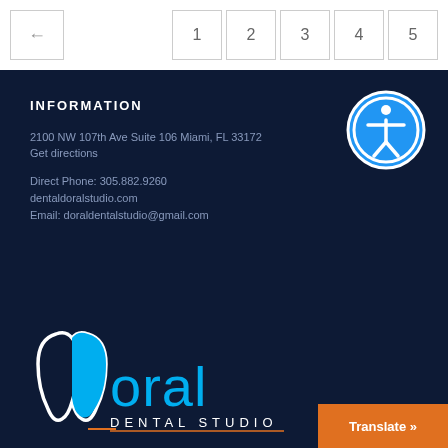← 1 2 3 4 5
INFORMATION
2100 NW 107th Ave Suite 106 Miami, FL 33172
Get directions
Direct Phone: 305.882.9260
dentaldoralstudio.com
Email: doraldentalstudio@gmail.com
[Figure (logo): Doral Dental Studio logo with tooth icon and blue/white text on dark navy background]
[Figure (other): Accessibility badge — circular blue icon with person symbol]
Translate »